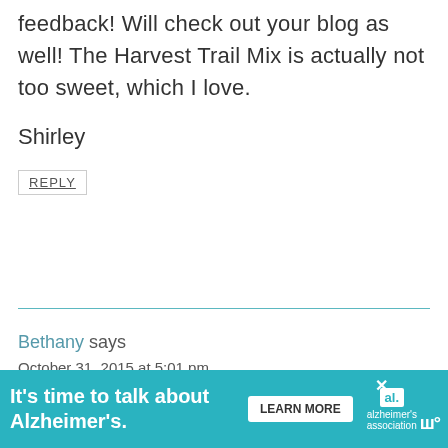feedback! Will check out your blog as well! The Harvest Trail Mix is actually not too sweet, which I love.
Shirley
REPLY
Bethany says
October 31, 2015 at 5:01 pm
I…
It's time to talk about Alzheimer's. LEARN MORE